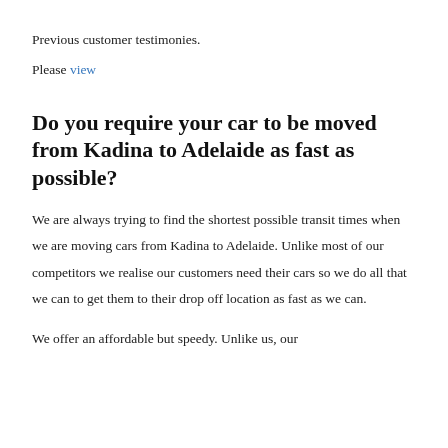Previous customer testimonies.
Please view
Do you require your car to be moved from Kadina to Adelaide as fast as possible?
We are always trying to find the shortest possible transit times when we are moving cars from Kadina to Adelaide. Unlike most of our competitors we realise our customers need their cars so we do all that we can to get them to their drop off location as fast as we can.
We offer an affordable but speedy. Unlike us, our